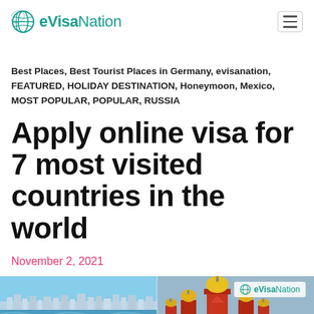eVisaNation
Best Places, Best Tourist Places in Germany, evisanation, FEATURED, HOLIDAY DESTINATION, Honeymoon, Mexico, MOST POPULAR, POPULAR, RUSSIA
Apply online visa for 7 most visited countries in the world
November 2, 2021
[Figure (photo): Hero image showing a beach scene on the left and Russian Orthodox church domes on the right, with eVisaNation watermark overlay]